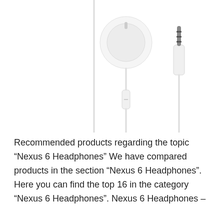[Figure (photo): White earphones/earbuds with inline remote and 3.5mm audio jack on white background]
Recommended products regarding the topic “Nexus 6 Headphones” We have compared products in the section “Nexus 6 Headphones”. Here you can find the top 16 in the category “Nexus 6 Headphones”. Nexus 6 Headphones –